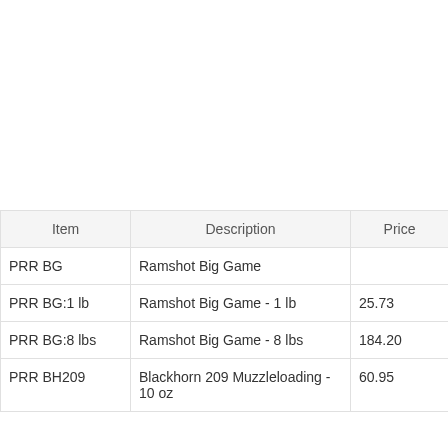| Item | Description | Price |
| --- | --- | --- |
| PRR BG | Ramshot Big Game |  |
| PRR BG:1 lb | Ramshot Big Game - 1 lb | 25.73 |
| PRR BG:8 lbs | Ramshot Big Game - 8 lbs | 184.20 |
| PRR BH209 | Blackhorn 209 Muzzleloading - 10 oz | 60.95 |